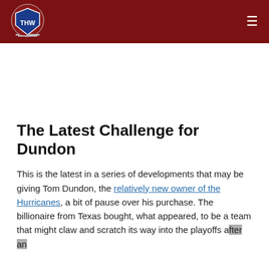THW (The Hockey Writers) logo and navigation
The Latest Challenge for Dundon
This is the latest in a series of developments that may be giving Tom Dundon, the relatively new owner of the Hurricanes, a bit of pause over his purchase. The billionaire from Texas bought, what appeared, to be a team that might claw and scratch its way into the playoffs after an